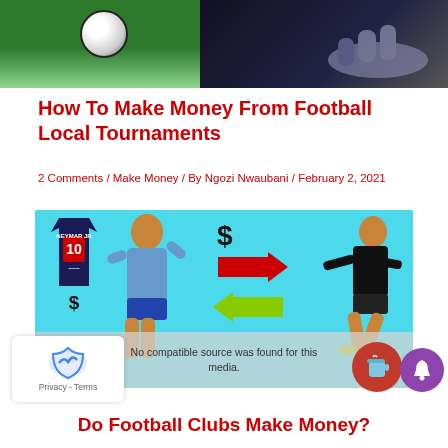[Figure (photo): Top banner image split into two: left half shows a football/soccer ball on green grass, right half shows hands of a person in dark setting]
How To Make Money From Football Local Tournaments
2 Comments / Make Money / By Ngozi Nwaubani / February 2, 2021
[Figure (illustration): Illustration on teal/cyan background showing Neymar Jr jersey with dollar sign, a player in blue kit, red and green transfer arrows with dollar sign, and Neymar in black PSG kit. Video error overlay reads 'No compatible source was found for this media.']
Do Football Clubs Make Money?